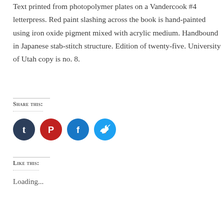Text printed from photopolymer plates on a Vandercook #4 letterpress. Red paint slashing across the book is hand-painted using iron oxide pigment mixed with acrylic medium. Handbound in Japanese stab-stitch structure. Edition of twenty-five. University of Utah copy is no. 8.
Share this:
[Figure (other): Social sharing icons: Tumblr (dark navy circle), Pinterest (red circle), Facebook (blue circle), Twitter (light blue circle)]
Like this:
Loading...